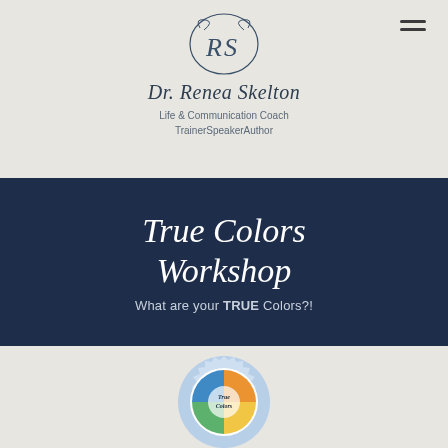[Figure (logo): Circular RS monogram logo for Dr. Renea Skelton in script style]
Dr. Renea Skelton
Life & Communication Coach
TrainerSpeakerAuthor
True Colors Workshop
What are your TRUE Colors?!
[Figure (logo): True Colors Certified badge/medallion with colorful segments and 'True Colors' text, with 'MASTER' label at bottom]